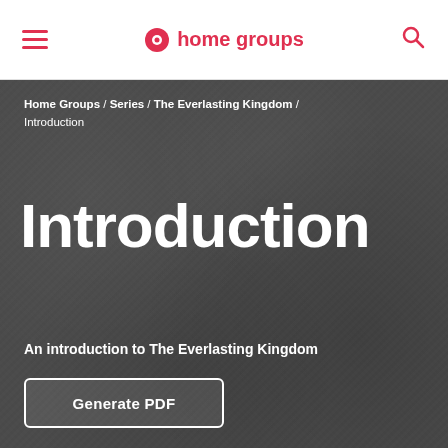≡  ⊕ home groups  🔍
Home Groups / Series / The Everlasting Kingdom / Introduction
Introduction
An introduction to The Everlasting Kingdom
Generate PDF